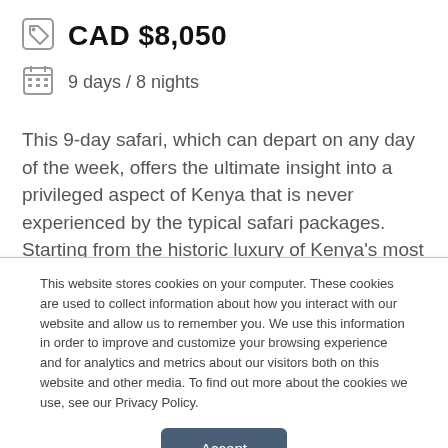CAD $8,050
9 days / 8 nights
This 9-day safari, which can depart on any day of the week, offers the ultimate insight into a privileged aspect of Kenya that is never experienced by the typical safari packages. Starting from the historic luxury of Kenya’s most famous hotel, it offers three days in an exclusive bush camp located
This website stores cookies on your computer. These cookies are used to collect information about how you interact with our website and allow us to remember you. We use this information in order to improve and customize your browsing experience and for analytics and metrics about our visitors both on this website and other media. To find out more about the cookies we use, see our Privacy Policy.
Accept